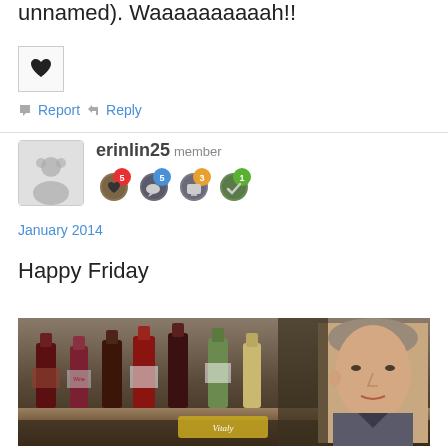unnamed). Waaaaaaaaaah!!
[Figure (illustration): Heart icon in a small square box]
Report   Reply
erinlin25 member
[Figure (illustration): Four badge icons with numbers: 5 (red), 5 (blue), 3 (orange), 1 (green)]
January 2014
Happy Friday
[Figure (photo): TV show still showing a man in front of wine bottles on a shelf, with SUGARFIXDIRTYTRICKS|TUMBLR watermark]